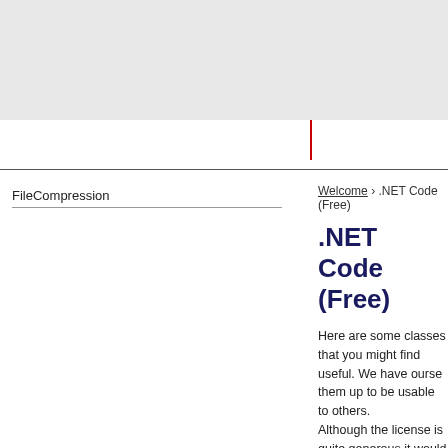FileCompression
Welcome › .NET Code (Free)
.NET Code (Free)
Here are some classes that you might find useful. We have ourse them up to be usable to others.
Although the license is quite generous it would be appreciated if
Please consider a donation if you use the code in comme
Send us any bug-fixes and improvements so that they ca
Rate the code by clicking the stars.
Send us the name and a short description of projects whe
[Figure (other): Donate button - rounded pill-shaped button with italic 'Donate' text]
These .Net Classes are licensed under this license;
[Figure (other): License text box with light yellow background]